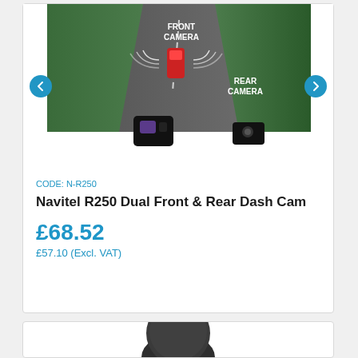[Figure (photo): Product image showing Navitel R250 dual dash cam with aerial view of road, front camera and rear camera labeled, with navigation arrows on sides]
CODE: N-R250
Navitel R250 Dual Front & Rear Dash Cam
£68.52
£57.10 (Excl. VAT)
[Figure (photo): Partial product image showing a dark rounded device (appears to be a camera or speaker), only top portion visible]